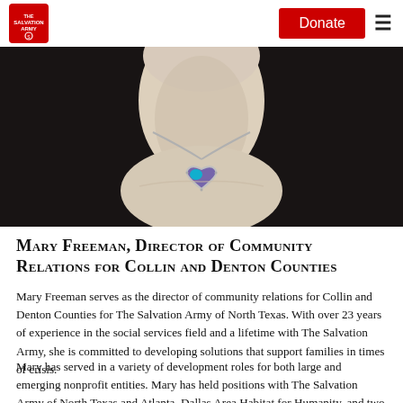The Salvation Army | Donate | Menu
[Figure (photo): Close-up photo of a person wearing a black blazer and a heart-shaped pendant necklace with blue and purple gemstones on a silver chain.]
Mary Freeman, Director of Community Relations for Collin and Denton Counties
Mary Freeman serves as the director of community relations for Collin and Denton Counties for The Salvation Army of North Texas. With over 23 years of experience in the social services field and a lifetime with The Salvation Army, she is committed to developing solutions that support families in times of crisis.
Mary has served in a variety of development roles for both large and emerging nonprofit entities. Mary has held positions with The Salvation Army of North Texas and Atlanta, Dallas Area Habitat for Humanity, and two grassroots